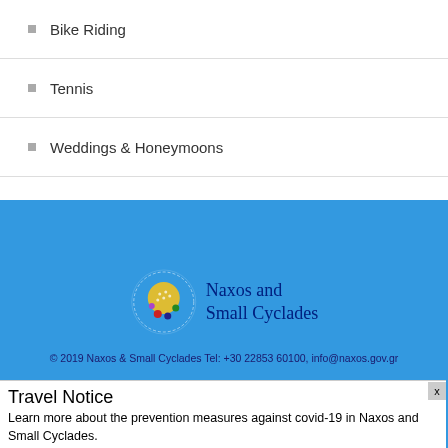Bike Riding
Tennis
Weddings & Honeymoons
Meetings & Conferences
Maps & Practical Information
[Figure (logo): Naxos and Small Cyclades logo with colorful circular emblem]
© 2019 Naxos & Small Cyclades Tel: +30 22853 60100, info@naxos.gov.gr
Travel Notice
Learn more about the prevention measures against covid-19 in Naxos and Small Cyclades.